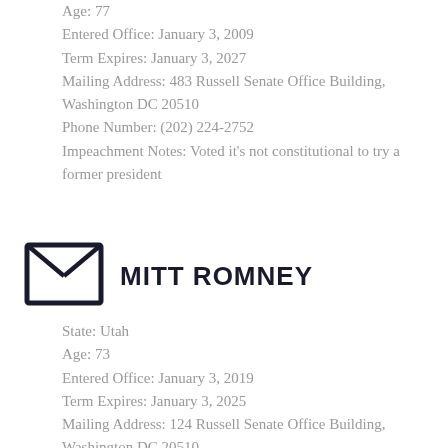Age: 77
Entered Office: January 3, 2009
Term Expires: January 3, 2027
Mailing Address: 483 Russell Senate Office Building, Washington DC 20510
Phone Number: (202) 224-2752
Impeachment Notes: Voted it's not constitutional to try a former president
[Figure (illustration): Envelope icon — dark navy outline of an envelope with an X pattern on the front]
MITT ROMNEY
State: Utah
Age: 73
Entered Office: January 3, 2019
Term Expires: January 3, 2025
Mailing Address: 124 Russell Senate Office Building, Washington DC 20510
Phone Number: (202) 224-5251